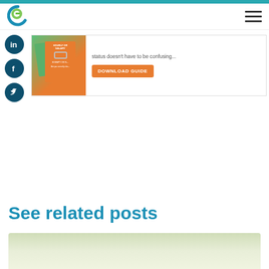GreenEmployee logo and navigation menu
[Figure (logo): Green and blue circular G logo for GreenEmployee]
[Figure (illustration): Social sharing icons: LinkedIn, Facebook, Twitter (dark teal circles)]
[Figure (infographic): Download guide promo banner: book graphic with HOURLY OR SALARY text, tagline about employee status, orange DOWNLOAD GUIDE button]
See related posts
[Figure (photo): Thumbnail image strip at bottom, light green/olive gradient background]